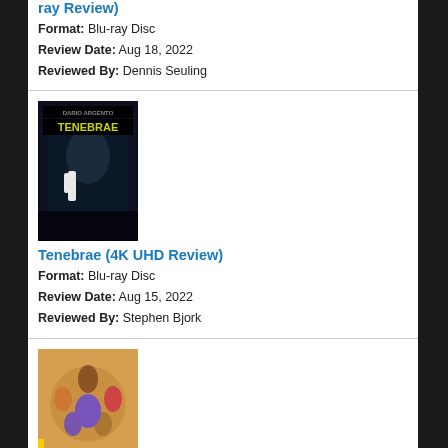ray Review)
Format: Blu-ray Disc
Review Date: Aug 18, 2022
Reviewed By: Dennis Seuling
[Figure (photo): Movie cover for Tenebrae by Dario Argento]
Tenebrae (4K UHD Review)
Format: Blu-ray Disc
Review Date: Aug 15, 2022
Reviewed By: Stephen Bjork
[Figure (photo): Movie cover for Inspector Ike]
Inspector Ike (Blu-ray Review)
Format: Blu-ray Disc
Review Date: Aug 15, 2022
Reviewed By: Dennis Seuling
[Figure (photo): Movie cover for Sampo]
Sampo (Blu-ray Review)
Format: Blu-ray Disc
Review Date: Aug 15, 2022